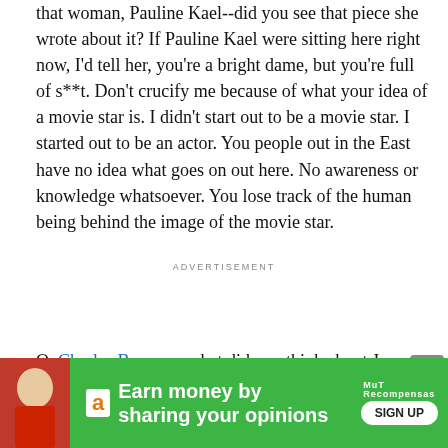that woman, Pauline Kael--did you see that piece she wrote about it? If Pauline Kael were sitting here right now, I'd tell her, you're a bright dame, but you're full of s**t. Don't crucify me because of what your idea of a movie star is. I didn't start out to be a movie star. I started out to be an actor. You people out in the East have no idea what goes on out here. No awareness or knowledge whatsoever. You lose track of the human being behind the image of the movie star.
ADVERTISEMENT
Q. Charles Bronson, what did you think about Jay Cocks' review
[Figure (other): Advertisement banner: green background with Amazon logo, 'Earn money by sharing your opinions' text, MuT Recompensas branding, and a SIGN UP button. Also shows a red figure on the left side and close buttons.]